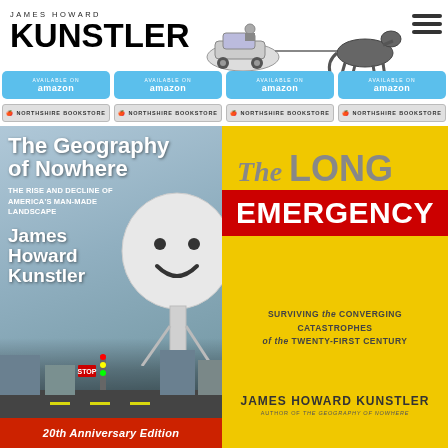JAMES HOWARD KUNSTLER
[Figure (illustration): Horse pulling a small car illustration - website logo/header graphic]
[Figure (illustration): Hamburger menu icon (three horizontal lines)]
[Figure (illustration): Four Amazon 'Available on' blue buttons in a row]
[Figure (illustration): Four Northshire Bookstore buttons in a row]
[Figure (illustration): Book cover: The Geography of Nowhere - The Rise and Decline of America's Man-Made Landscape by James Howard Kunstler, 20th Anniversary Edition]
[Figure (illustration): Book cover: The Long Emergency - Surviving the Converging Catastrophes of the Twenty-First Century by James Howard Kunstler, Author of The Geography of Nowhere]